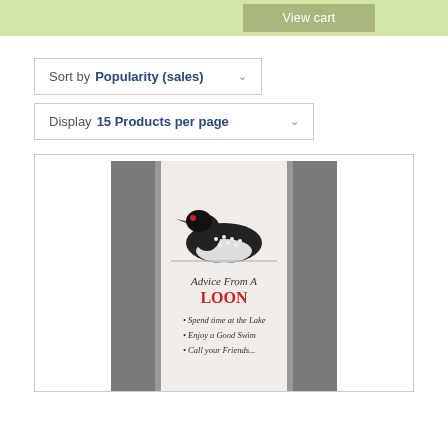View cart
Sort by Popularity (sales)
Display 15 Products per page
[Figure (photo): A dish towel with a loon bird illustration. The towel has dark gray side panels and a light center stripe. It features an embroidered/printed loon bird image and text reading 'Advice From A LOON' with bullet points: Spend time at the Lake, Enjoy a Good Swim, Call your Friends...]